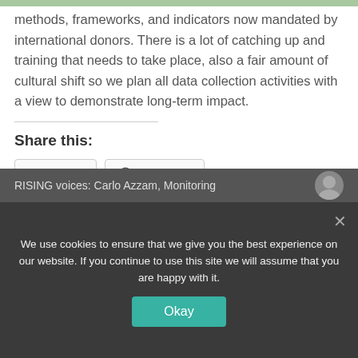methods, frameworks, and indicators now mandated by international donors. There is a lot of catching up and training that needs to take place, also a fair amount of cultural shift so we plan all data collection activities with a view to demonstrate long-term impact.
Share this:
[Figure (other): Twitter and Facebook share buttons]
Like this:
We use cookies to ensure that we give you the best experience on our website. If you continue to use this site we will assume that you are happy with it.
RISING voices: Carlo Azzam, Monitoring